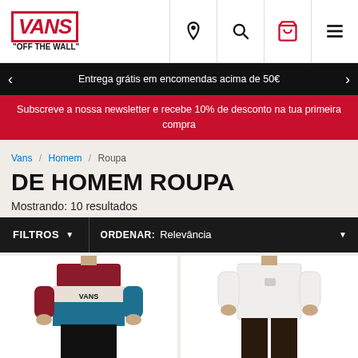[Figure (logo): Vans 'Off The Wall' logo in red with italic bold font]
[Figure (infographic): Navigation icons: location pin, search, shopping cart, hamburger menu]
Entrega grátis em encomendas acima de 50€
Subscreve a nossa newsletter e recebe 10% de desconto na tua primeira compra
Vans / Homem / Roupa
DE HOMEM ROUPA
Mostrando: 10 resultados
FILTROS  ORDENAR: Relevância
[Figure (photo): Man wearing a color-block Vans t-shirt (burgundy, white, teal) with black pants]
[Figure (photo): Man wearing a plain white t-shirt with dark pants]